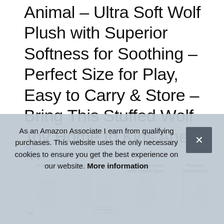Animal – Ultra Soft Wolf Plush with Superior Softness for Soothing – Perfect Size for Play, Easy to Carry & Store – Bring This Stuffed Wolf Toy Home to Kids Ages 3+
#ad
[Figure (photo): Four product thumbnail images of a wolf plush toy showing: Wolf Plush label, Adorable Features with trees background, Detailed Features with Plastic Eyes closeup, Product Dimensions 8 inches with wolf plush next to trees]
As an Amazon Associate I earn from qualifying purchases. This website uses the only necessary cookies to ensure you get the best experience on our website. More information